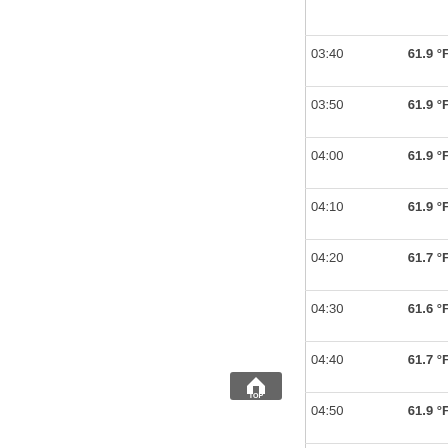| Time | Temp | Dew Point | Pressure | Wind Dir | Wind Speed | Gust |
| --- | --- | --- | --- | --- | --- | --- |
|  |  | °F |  |  |  | mph |
| 03:40 | 61.9 °F | 60.1 °F | 29.92 in | WNW | 2 mph | 2 mph |
| 03:50 | 61.9 °F | 60.1 °F | 29.92 in | WSW | 2 mph | 3 mph |
| 04:00 | 61.9 °F | 60.1 °F | 29.92 in | WSW | 1 mph | 2 mph |
| 04:10 | 61.9 °F | 60.1 °F | 29.92 in | Calm |  | 2 mph |
| 04:20 | 61.7 °F | 60 °F | 29.92 in | West | 2 mph | 3 mph |
| 04:30 | 61.6 °F | 59.8 °F | 29.92 in | WNW | 2 mph | 4 mph |
| 04:40 | 61.7 °F | 60.3 °F | 29.92 in | Calm |  | 3 mph |
| 04:50 | 61.9 °F | 60.1 °F | 29.92 in | Calm |  | 3 mph |